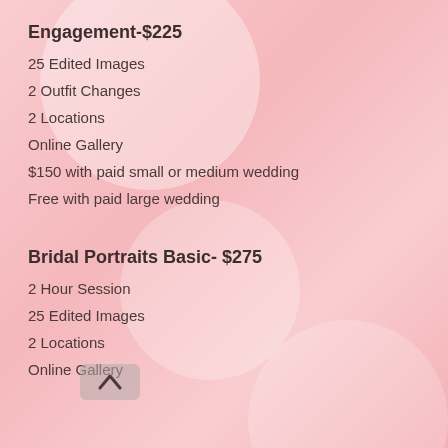Engagement-$225
25 Edited Images
2 Outfit Changes
2 Locations
Online Gallery
$150 with paid small or medium wedding
Free with paid large wedding
Bridal Portraits Basic- $275
2 Hour Session
25 Edited Images
2 Locations
Online Gallery